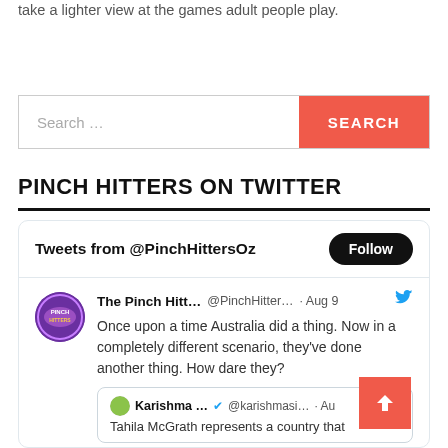take a lighter view at the games adult people play.
[Figure (screenshot): Search bar with text input placeholder 'Search ...' and a red SEARCH button]
PINCH HITTERS ON TWITTER
[Figure (screenshot): Twitter widget showing 'Tweets from @PinchHittersOz' with a Follow button and a tweet from 'The Pinch Hitt... @PinchHitter... · Aug 9' with text 'Once upon a time Australia did a thing. Now in a completely different scenario, they've done another thing. How dare they?' and a quoted tweet from 'Karishma ... @karishmasi... · Au' with text 'Tahila McGrath represents a country that']